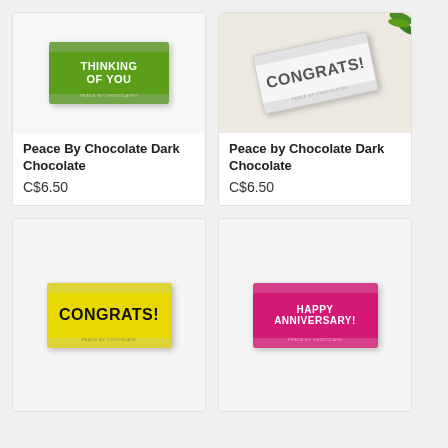[Figure (photo): Green chocolate bar wrapper reading THINKING OF YOU by Peace By Chocolate]
Peace By Chocolate Dark Chocolate
C$6.50
[Figure (photo): White/silver chocolate bar wrapper reading CONGRATS! by Peace by Chocolate, placed on beige surface with green leaves in background]
Peace by Chocolate Dark Chocolate
C$6.50
[Figure (photo): Yellow chocolate bar wrapper reading CONGRATS! by Peace By Chocolate]
[Figure (photo): Pink/magenta chocolate bar wrapper reading HAPPY ANNIVERSARY! by Peace By Chocolate]